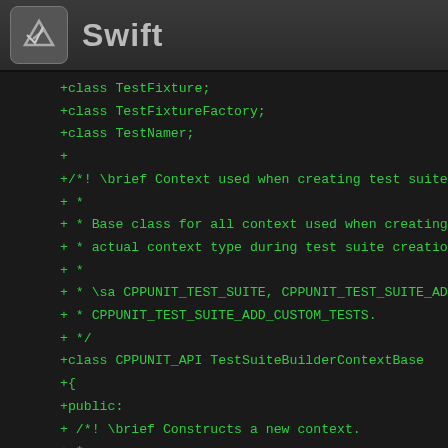Swift
[Figure (screenshot): Swift application logo — a stylized bird icon in a rounded square]
+class TestFixture;
+class TestFixtureFactory;
+class TestNamer;
+
+/*! \brief Context used when creating test suite in
+ *
+ * Base class for all context used when creating te
+ * actual context type during test suite creation i
+ *
+ * \sa CPPUNIT_TEST_SUITE, CPPUNIT_TEST_SUITE_ADD_T
+ *       CPPUNIT_TEST_SUITE_ADD_CUSTOM_TESTS.
+ */
+class CPPUNIT_API TestSuiteBuilderContextBase
+{
+public:
+   /*! \brief Constructs a new context.
+ *
+ *   * You should not use this. The context is create
+ *   * CPPUNIT_TEST_SUITE().
+ *   */